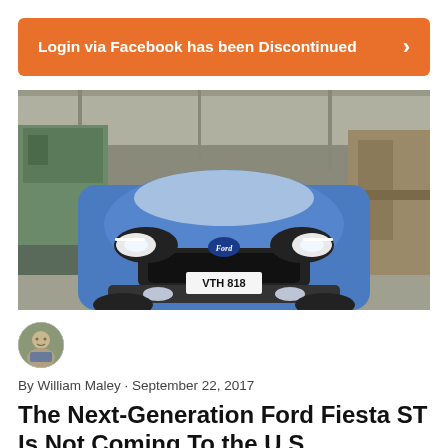Login via Facebook has been Discontinued
[Figure (photo): Front view of a blue Ford Fiesta ST with license plate VTH 818 inside an industrial factory setting]
[Figure (photo): Author avatar photo of William Maley]
By William Maley · September 22, 2017
The Next-Generation Ford Fiesta ST Is Not Coming To the U.S.